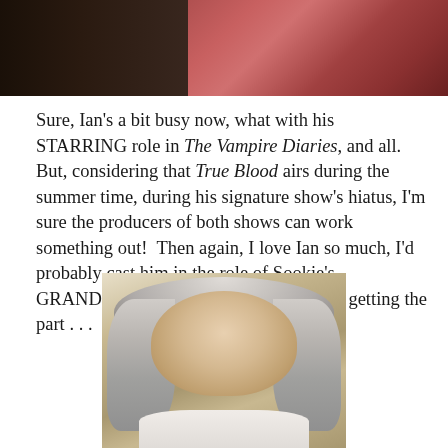[Figure (photo): Top portion of a photo showing a person indoors, with red/pink drapery visible in the background, partially cropped at the top of the page]
Sure, Ian's a bit busy now, what with his STARRING role in The Vampire Diaries, and all.  But, considering that True Blood airs during the summer time, during his signature show's hiatus, I'm sure the producers of both shows can work something out!  Then again, I love Ian so much, I'd probably cast him in the role of Sookie's GRANDMA, if I thought he had a shot at getting the part . . .
[Figure (photo): Photo of an elderly woman with long silver-white hair, smiling, wearing a light-colored top, in a warmly lit indoor setting]